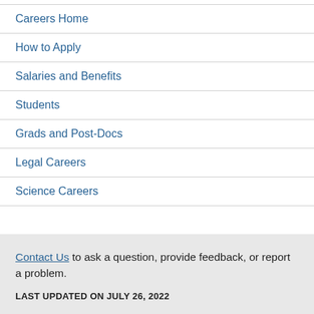Careers Home
How to Apply
Salaries and Benefits
Students
Grads and Post-Docs
Legal Careers
Science Careers
Contact Us to ask a question, provide feedback, or report a problem.
LAST UPDATED ON JULY 26, 2022